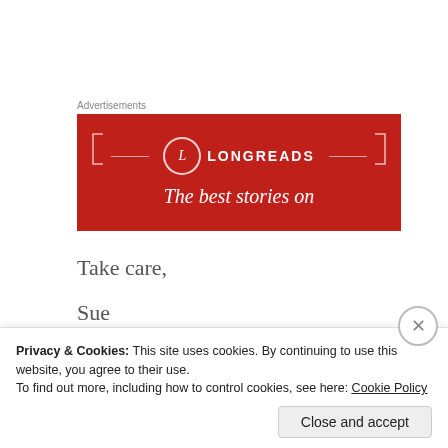[Figure (advertisement): Longreads advertisement banner with red background, circular L logo, and text 'The best stories on']
Take care,
Sue
Privacy & Cookies: This site uses cookies. By continuing to use this website, you agree to their use.
To find out more, including how to control cookies, see here: Cookie Policy
Close and accept